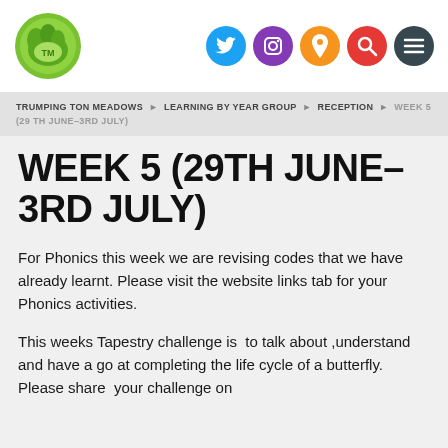[Figure (logo): Trumpington Meadows school logo — green circular emblem with stylized hedgehog/leaves graphic]
[Figure (infographic): Social media icon buttons: Twitter (blue), Instagram (purple), location pin (orange), search (red), menu (dark blue) — all circular]
TRUMPINGTON MEADOWS ▶ LEARNING BY YEAR GROUP ▶ RECEPTION ▶ WEEK 5 (29TH JUNE–3RD JULY)
WEEK 5 (29TH JUNE–3RD JULY)
For Phonics this week we are revising codes that we have already learnt. Please visit the website links tab for your Phonics activities.
This weeks Tapestry challenge is  to talk about ,understand and have a go at completing the life cycle of a butterfly. Please share  your challenge on